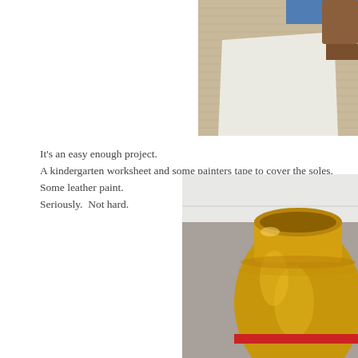[Figure (photo): Close-up photo showing a shoe sole being covered with painters tape and a white template/worksheet on a burlap or linen surface, with a brown leather shoe visible]
It's an easy enough project.
A kindergarten worksheet and some painters tape to cover the soles.
Some leather paint.
Seriously.  Not hard.
[Figure (photo): Close-up photo of a yellow glazed ceramic pot or vase with a red stripe near the bottom, sitting on a surface near a white cabinet]